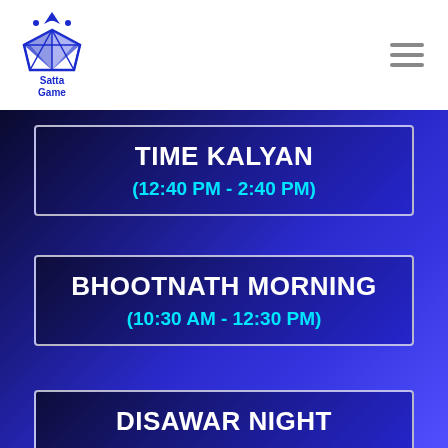[Figure (logo): Satta Game logo: blue diamond with crown and text 'Satta Game' beneath it]
TIME KALYAN
(12:40 PM - 2:40 PM)
BHOOTNATH MORNING
(10:30 AM - 12:30 PM)
DISAWAR NIGHT